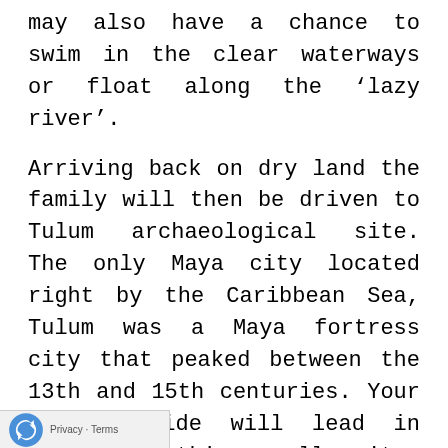may also have a chance to swim in the clear waterways or float along the 'lazy river'.
Arriving back on dry land the family will then be driven to Tulum archaeological site. The only Maya city located right by the Caribbean Sea, Tulum was a Maya fortress city that peaked between the 13th and 15th centuries. Your expert guide will lead in exploring this small site, that was an important place of trade in jade and turquoise, and despite its size, displays many styles of Maya architecture. There may also be time for you to take a